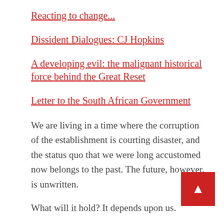Reacting to change...
Dissident Dialogues: CJ Hopkins
A developing evil: the malignant historical force behind the Great Reset
Letter to the South African Government
We are living in a time where the corruption of the establishment is courting disaster, and the status quo that we were long accustomed now belongs to the past. The future, however, is unwritten.
What will it hold? It depends upon us.
The time has come to rise up against the tyranny of the biosecurity state, to declare that we will